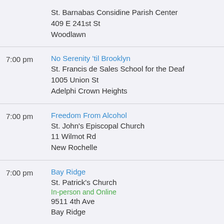St. Barnabas Considine Parish Center
409 E 241st St
Woodlawn
7:00 pm | No Serenity 'til Brooklyn | St. Francis de Sales School for the Deaf | 1005 Union St | Adelphi Crown Heights
7:00 pm | Freedom From Alcohol | St. John's Episcopal Church | 11 Wilmot Rd | New Rochelle
7:00 pm | Bay Ridge | St. Patrick's Church | In-person and Online | 9511 4th Ave | Bay Ridge
7:00 pm | Traditions | Twelfth Street Workshop